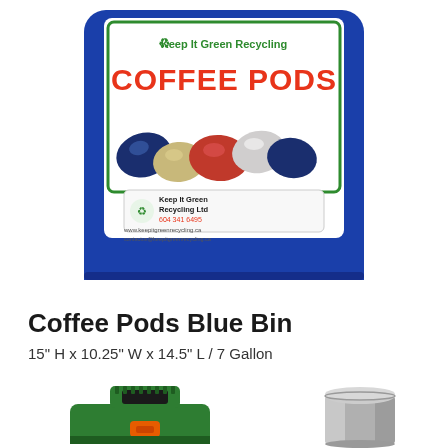[Figure (photo): Blue rectangular bin labeled 'COFFEE PODS' with Keep It Green Recycling branding. The front label shows colorful coffee pods/capsules and a company sticker with contact details: Keep It Green Recycling Ltd, 604 341 6495, www.keepitgreenrecycling.ca, contactus@keepitgreenrecycling.ca]
Coffee Pods Blue Bin
15" H x 10.25" W x 14.5" L / 7 Gallon
[Figure (photo): Green plastic storage container/bin with orange latch and handle, and a silver stainless steel round lidded canister, shown side by side at the bottom of the page.]